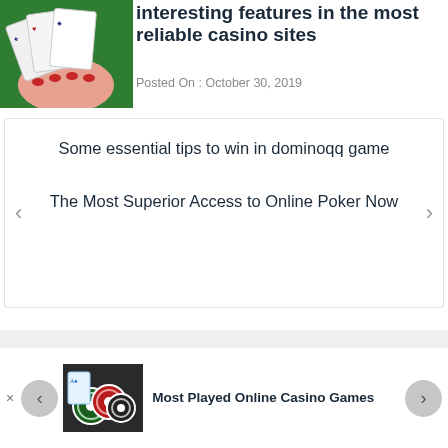interesting features in the most reliable casino sites
Posted On : October 30, 2019
Some essential tips to win in dominoqq game
The Most Superior Access to Online Poker Now
Most Played Online Casino Games